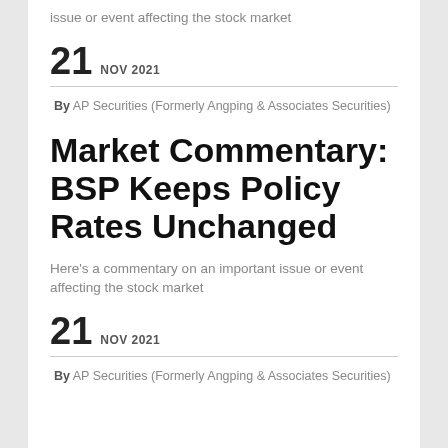issue or event affecting the stock market
21  NOV 2021
By AP Securities (Formerly Angping & Associates Securities)
Market Commentary: BSP Keeps Policy Rates Unchanged
Here's a commentary on an important issue or event affecting the stock market
21  NOV 2021
By AP Securities (Formerly Angping & Associates Securities)